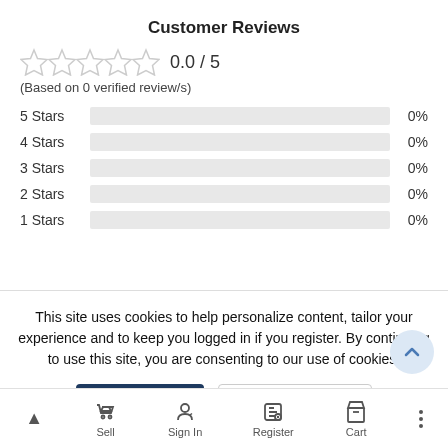Customer Reviews
[Figure (other): Five empty/grey star rating icons showing 0.0 / 5 rating]
(Based on 0 verified review/s)
| Stars | Bar | Percentage |
| --- | --- | --- |
| 5 Stars |  | 0% |
| 4 Stars |  | 0% |
| 3 Stars |  | 0% |
| 2 Stars |  | 0% |
| 1 Stars |  | 0% |
This site uses cookies to help personalize content, tailor your experience and to keep you logged in if you register. By continuing to use this site, you are consenting to our use of cookies.
Accept
Cookie usage
All reviews
Show r...
5 star r...
4 star reviews
3 star reviews
Sell  Sign In  Register  Cart